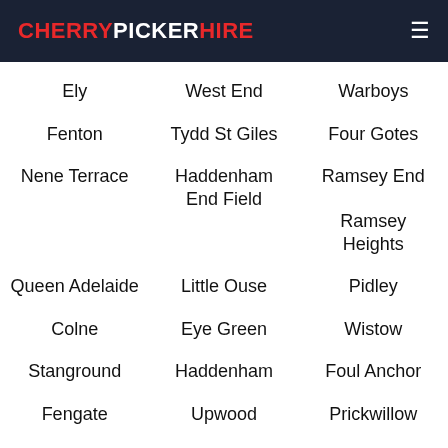CHERRYPICKERHIRE
Ely
West End
Warboys
Fenton
Tydd St Giles
Four Gotes
Nene Terrace
Haddenham End Field
Ramsey End
Ramsey Heights
Queen Adelaide
Little Ouse
Pidley
Colne
Eye Green
Wistow
Stanground
Haddenham
Foul Anchor
Fengate
Upwood
Prickwillow